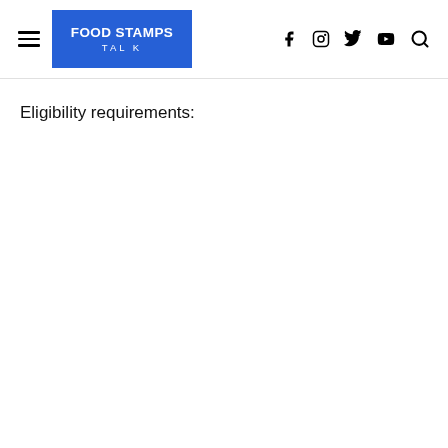FOOD STAMPS TALK
Eligibility requirements: